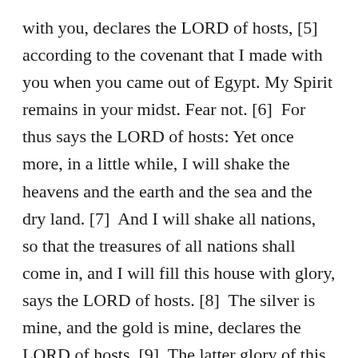with you, declares the LORD of hosts, [5] according to the covenant that I made with you when you came out of Egypt. My Spirit remains in your midst. Fear not. [6] For thus says the LORD of hosts: Yet once more, in a little while, I will shake the heavens and the earth and the sea and the dry land. [7] And I will shake all nations, so that the treasures of all nations shall come in, and I will fill this house with glory, says the LORD of hosts. [8] The silver is mine, and the gold is mine, declares the LORD of hosts. [9] The latter glory of this house shall be greater than the former, says the LORD of hosts. And in this place I will give peace, declares the LORD of hosts." [ESV]
[3-9] Haggai begins his message in chapter 2 by tackling the source of the people's discouragement, namely, the unimpressive condition of the present